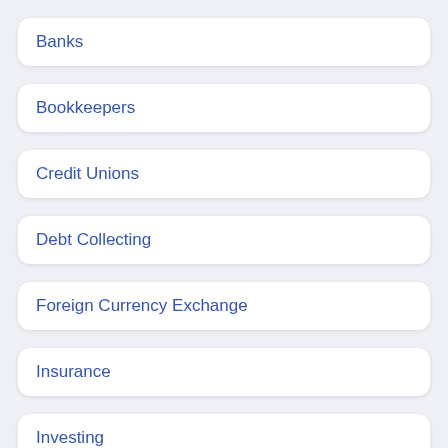Banks
Bookkeepers
Credit Unions
Debt Collecting
Foreign Currency Exchange
Insurance
Investing